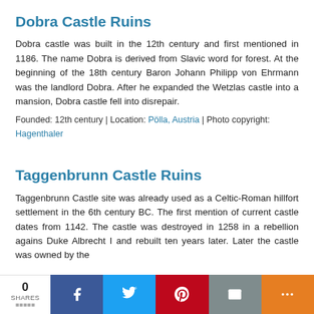Dobra Castle Ruins
Dobra castle was built in the 12th century and first mentioned in 1186. The name Dobra is derived from Slavic word for forest. At the beginning of the 18th century Baron Johann Philipp von Ehrmann was the landlord Dobra. After he expanded the Wetzlas castle into a mansion, Dobra castle fell into disrepair.
Founded: 12th century | Location: Pölla, Austria | Photo copyright: Hagenthaler
Taggenbrunn Castle Ruins
Taggenbrunn Castle site was already used as a Celtic-Roman hillfort settlement in the 6th century BC. The first mention of current castle dates from 1142. The castle was destroyed in 1258 in a rebellion agains Duke Albrecht I and rebuilt ten years later. Later the castle was owned by the